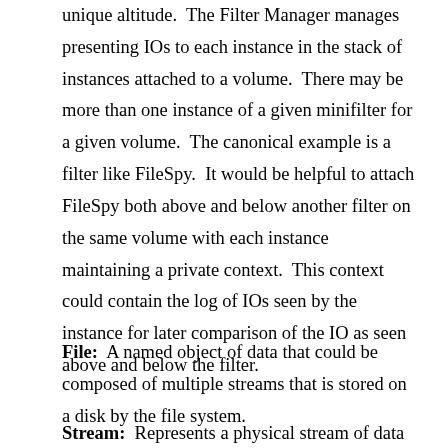unique altitude.  The Filter Manager manages presenting IOs to each instance in the stack of instances attached to a volume.  There may be more than one instance of a given minifilter for a given volume.  The canonical example is a filter like FileSpy.  It would be helpful to attach FileSpy both above and below another filter on the same volume with each instance maintaining a private context.  This context could contain the log of IOs seen by the instance for later comparison of the IO as seen above and below the filter.
File:  A named object of data that could be composed of multiple streams that is stored on a disk by the file system.
Stream:  Represents a physical stream of data in a file.